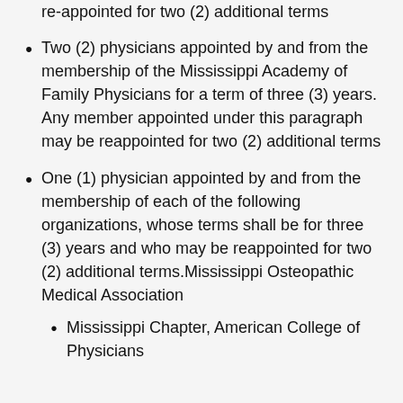member appointed under this paragraph may be re-appointed for two (2) additional terms
Two (2) physicians appointed by and from the membership of the Mississippi Academy of Family Physicians for a term of three (3) years. Any member appointed under this paragraph may be reappointed for two (2) additional terms
One (1) physician appointed by and from the membership of each of the following organizations, whose terms shall be for three (3) years and who may be reappointed for two (2) additional terms.Mississippi Osteopathic Medical Association
Mississippi Chapter, American College of Physicians